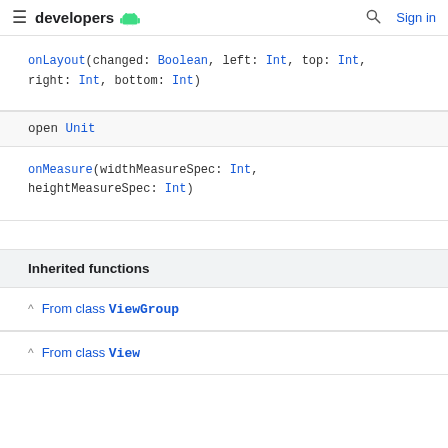developers (Android logo) Sign in
onLayout(changed: Boolean, left: Int, top: Int, right: Int, bottom: Int)
open Unit
onMeasure(widthMeasureSpec: Int, heightMeasureSpec: Int)
Inherited functions
From class ViewGroup
From class View